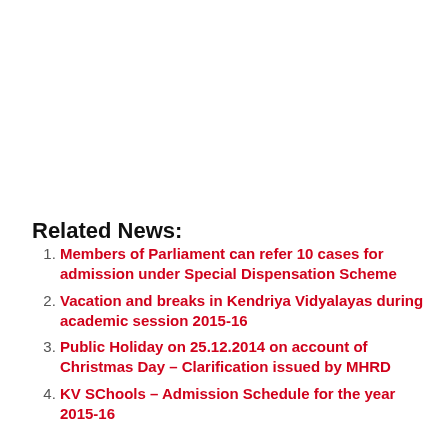Related News:
Members of Parliament can refer 10 cases for admission under Special Dispensation Scheme
Vacation and breaks in Kendriya Vidyalayas during academic session 2015-16
Public Holiday on 25.12.2014 on account of Christmas Day – Clarification issued by MHRD
KV SChools – Admission Schedule for the year 2015-16